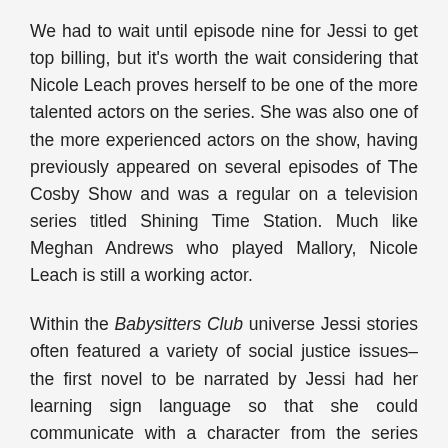We had to wait until episode nine for Jessi to get top billing, but it's worth the wait considering that Nicole Leach proves herself to be one of the more talented actors on the series. She was also one of the more experienced actors on the show, having previously appeared on several episodes of The Cosby Show and was a regular on a television series titled Shining Time Station. Much like Meghan Andrews who played Mallory, Nicole Leach is still a working actor.
Within the Babysitters Club universe Jessi stories often featured a variety of social justice issues–the first novel to be narrated by Jessi had her learning sign language so that she could communicate with a character from the series who was deaf. In later books she would help a kid with a life threatening illness, apologise to a teacher who was being bullied and help a friend who was suffering from Anorexia Nervosa. Jessi was always portrayed as being fairly mature for her age, though it was obvious from her debut in the series that had to be that way. When she first moved to Stoneybrook